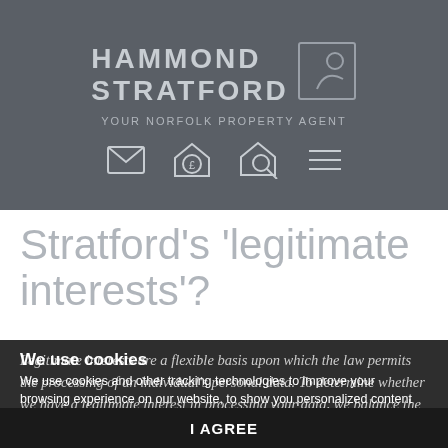HAMMOND STRATFORD — YOUR NORFOLK PROPERTY AGENT
Stratford's 'legitimate interests'?
Legitimate interests are a flexible basis upon which the law permits the processing of an individual's personal data. To determine whether we have a legitimate interest in processing your data, we balance the needs and benefits to us against the risks and benefits for you of us processing your data. This balancing is
We use cookies and other tracking technologies to improve your browsing experience on our website, to show you personalized content and targeted ads, to analyze our website traffic, and to understand where our visitors are coming from.
I AGREE